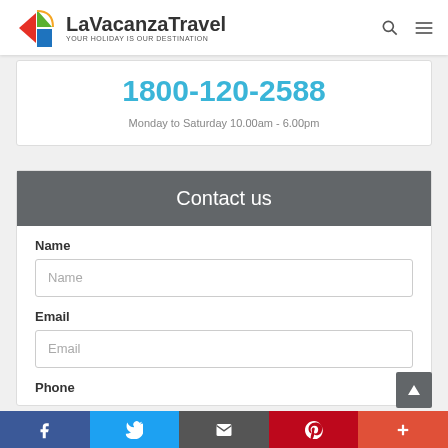LaVacanzaTravel — YOUR HOLIDAY IS OUR DESTINATION
1800-120-2588
Monday to Saturday 10.00am - 6.00pm
Contact us
Name
Email
Phone